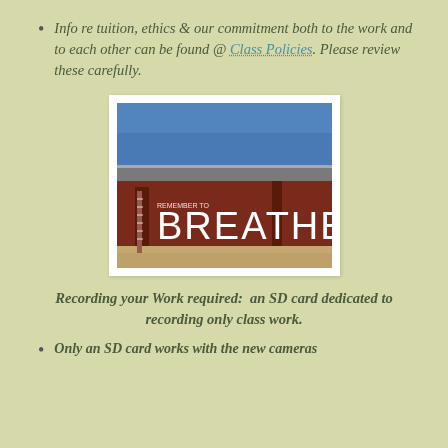Info re tuition, ethics & our commitment both to the work and to each other can be found @ Class Policies. Please review these carefully.
[Figure (photo): Photo of a red barn/shed with 'REMEMBER TO BREATHE' painted in white letters on it, blue sky in background, sandy ground in front.]
Recording your Work required:  an SD card dedicated to recording only class work.
Only an SD card works with the new cameras